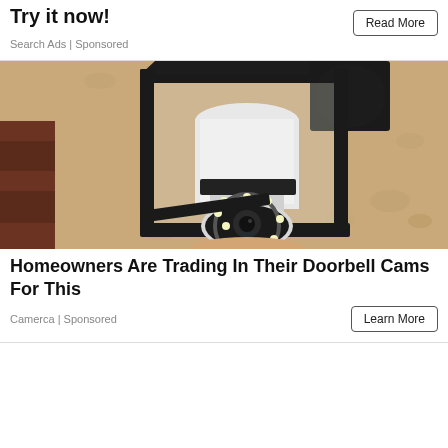Try it now!
Search Ads | Sponsored
[Figure (photo): A light bulb socket security camera installed inside a black outdoor lantern-style light fixture mounted on a textured beige stucco wall. The camera has a rounded white body with an LED ring visible at the bottom.]
Homeowners Are Trading In Their Doorbell Cams For This
Camerca | Sponsored